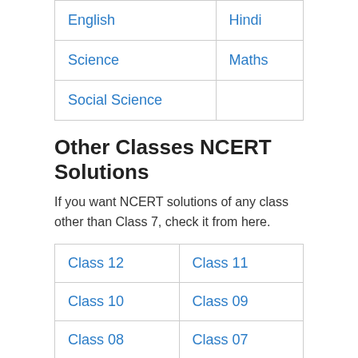| English | Hindi |
| Science | Maths |
| Social Science |  |
Other Classes NCERT Solutions
If you want NCERT solutions of any class other than Class 7, check it from here.
| Class 12 | Class 11 |
| Class 10 | Class 09 |
| Class 08 | Class 07 |
| Class 06 | Class 05 |